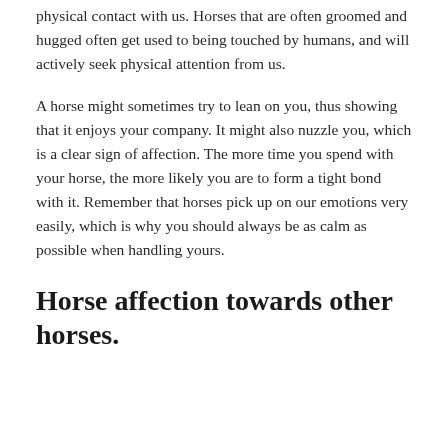physical contact with us. Horses that are often groomed and hugged often get used to being touched by humans, and will actively seek physical attention from us.
A horse might sometimes try to lean on you, thus showing that it enjoys your company. It might also nuzzle you, which is a clear sign of affection. The more time you spend with your horse, the more likely you are to form a tight bond with it. Remember that horses pick up on our emotions very easily, which is why you should always be as calm as possible when handling yours.
Horse affection towards other horses.